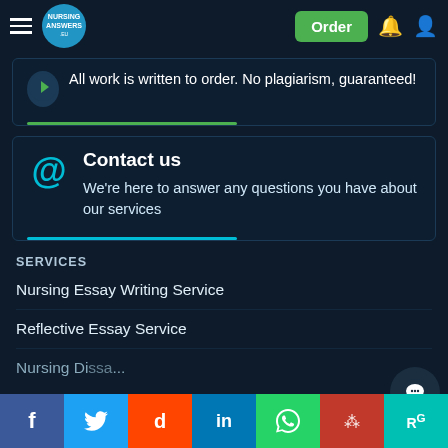Nursing Answers - Order | Bell | User
All work is written to order. No plagiarism, guaranteed!
Contact us
We're here to answer any questions you have about our services
SERVICES
Nursing Essay Writing Service
Reflective Essay Service
Nursing Di...a W...